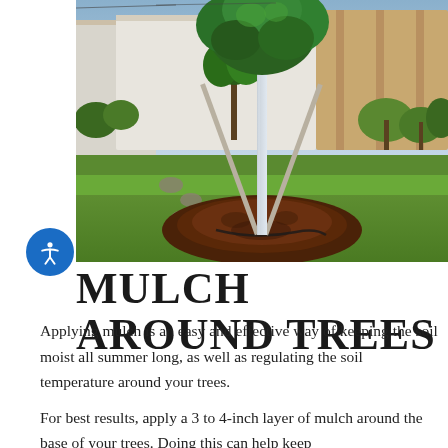[Figure (photo): A young tree planted in a backyard garden with wooden support stakes and a circular mound of dark mulch/soil around its base. A drip irrigation hose is visible at the base. Green lawn, garden beds, shrubs, and a wooden fence are visible in the background under a clear sky.]
MULCH AROUND TREES
Applying mulch is an easy and effective way of keeping the soil moist all summer long, as well as regulating the soil temperature around your trees.
For best results, apply a 3 to 4-inch layer of mulch around the base of your trees. Doing this can help keep